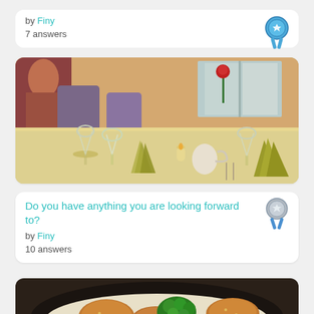by Finy
7 answers
[Figure (photo): Restaurant dining table with wine glasses, green napkins, candle, and a rose centerpiece]
Do you have anything you are looking forward to?
by Finy
10 answers
[Figure (photo): Food plate with rice, broccoli, and fried chicken pieces on a dark plate]